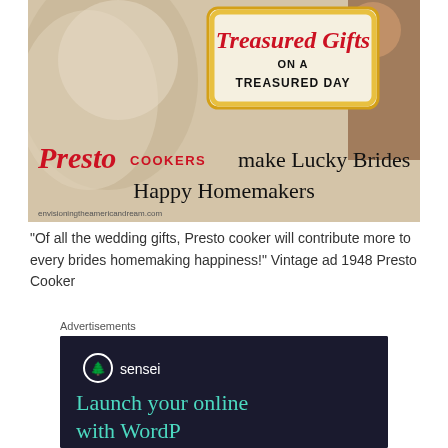[Figure (illustration): Vintage 1948 Presto Cooker advertisement. Shows a decorative sign reading 'Treasured Gifts ON A TREASURED DAY' with the tagline 'Presto COOKERS make Lucky Brides Happy Homemakers'. Watermark: envisioningtheamericandream.com]
"Of all the wedding gifts, Presto cooker will contribute more to every brides homemaking happiness!" Vintage ad 1948 Presto Cooker
Advertisements
[Figure (screenshot): Sensei advertisement on dark navy background. Shows Sensei logo (tree in circle) and text: 'sensei' then 'Launch your online' and partially visible 'with WordP...']